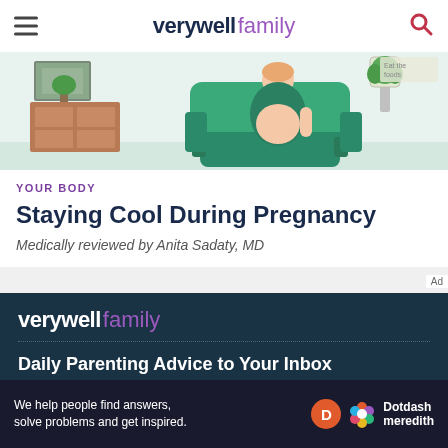verywell family
[Figure (illustration): Illustration of a pregnant woman sitting in a green armchair in a cozy room with plants and shelving]
YOUR BODY
Staying Cool During Pregnancy
Medically reviewed by Anita Sadaty, MD
[Figure (logo): verywell family logo in white and purple on dark teal background]
Daily Parenting Advice to Your Inbox
ONE-TAP SIGN UP
We help people find answers, solve problems and get inspired.
[Figure (logo): Dotdash Meredith logo with orange D badge and colorful flower icon]